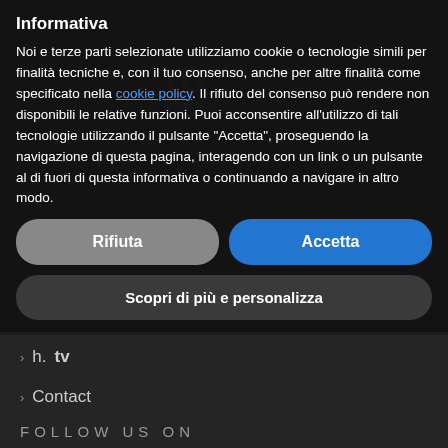Informativa
Noi e terze parti selezionate utilizziamo cookie o tecnologie simili per finalità tecniche e, con il tuo consenso, anche per altre finalità come specificato nella cookie policy. Il rifiuto del consenso può rendere non disponibili le relative funzioni. Puoi acconsentire all'utilizzo di tali tecnologie utilizzando il pulsante "Accetta", proseguendo la navigazione di questa pagina, interagendo con un link o un pulsante al di fuori di questa informativa o continuando a navigare in altro modo.
Fairs
Exhibition design
Group exhibitions
Italia
Events
h.tv
Contact
FOLLOW US ON